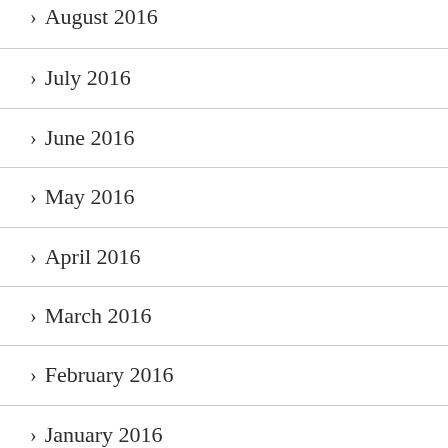> August 2016
> July 2016
> June 2016
> May 2016
> April 2016
> March 2016
> February 2016
> January 2016